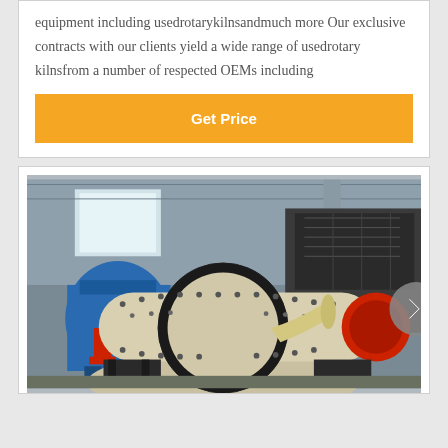equipment including usedrotarykilnsandmuch more Our exclusive contracts with our clients yield a wide range of usedrotary kilnsfrom a number of respected OEMs including
[Figure (other): Get Price button - orange/yellow CTA button]
[Figure (photo): Industrial ball mill machinery in a factory/warehouse setting. A large cream/white cylindrical ball mill with a prominent black gear ring and red end cap is shown in the foreground. Blue machinery visible on the left, and a large dark machine on the right. The warehouse has steel roof structure visible.]